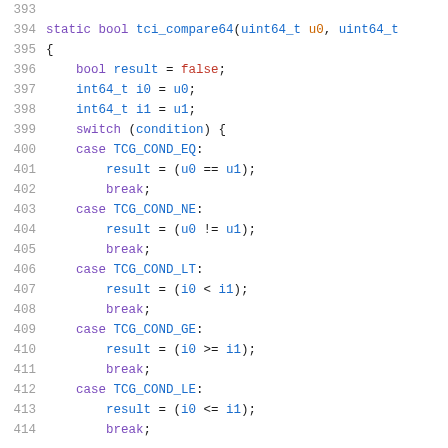Source code listing lines 393-414, C function tci_compare64 with switch statement on condition variable handling TCG_COND_EQ, TCG_COND_NE, TCG_COND_LT, TCG_COND_GE, TCG_COND_LE cases